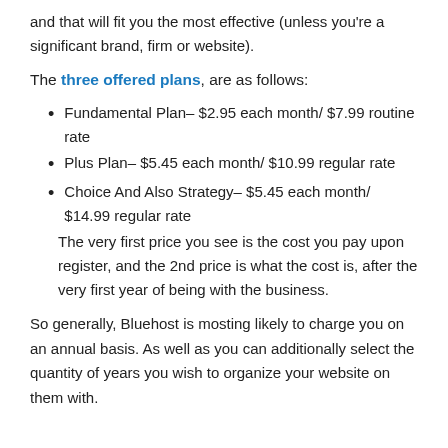and that will fit you the most effective (unless you're a significant brand, firm or website).
The three offered plans, are as follows:
Fundamental Plan– $2.95 each month/ $7.99 routine rate
Plus Plan– $5.45 each month/ $10.99 regular rate
Choice And Also Strategy– $5.45 each month/ $14.99 regular rate
The very first price you see is the cost you pay upon register, and the 2nd price is what the cost is, after the very first year of being with the business.
So generally, Bluehost is mosting likely to charge you on an annual basis. As well as you can additionally select the quantity of years you wish to organize your website on them with.